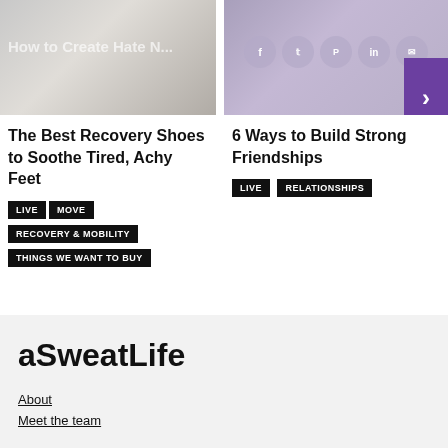[Figure (photo): Shoes image with overlaid text 'How to Create Hate N...']
The Best Recovery Shoes to Soothe Tired, Achy Feet
LIVE
MOVE
RECOVERY & MOBILITY
THINGS WE WANT TO BUY
[Figure (photo): People smiling photo with social media icons (f, twitter, pinterest, in, mail) and a purple next arrow button]
6 Ways to Build Strong Friendships
LIVE
RELATIONSHIPS
aSweatLife
About
Meet the team